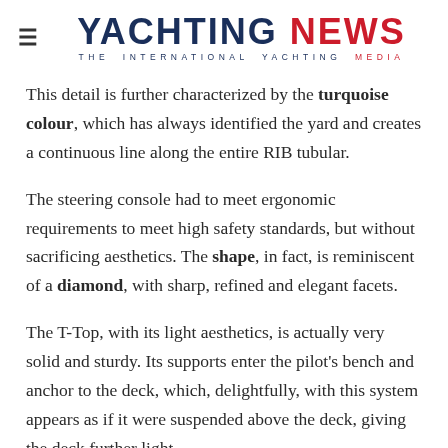YACHTING NEWS — THE INTERNATIONAL YACHTING MEDIA
This detail is further characterized by the turquoise colour, which has always identified the yard and creates a continuous line along the entire RIB tubular.
The steering console had to meet ergonomic requirements to meet high safety standards, but without sacrificing aesthetics. The shape, in fact, is reminiscent of a diamond, with sharp, refined and elegant facets.
The T-Top, with its light aesthetics, is actually very solid and sturdy. Its supports enter the pilot's bench and anchor to the deck, which, delightfully, with this system appears as if it were suspended above the deck, giving the deck further light...